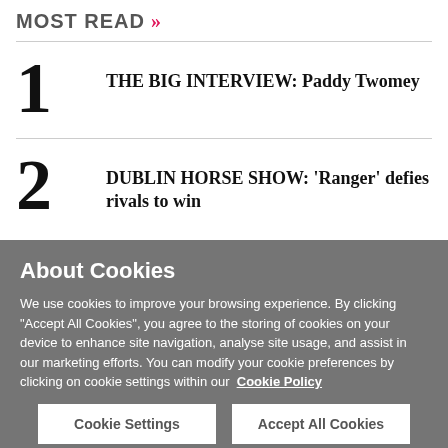MOST READ >>
1 THE BIG INTERVIEW: Paddy Twomey
2 DUBLIN HORSE SHOW: 'Ranger' defies rivals to win
About Cookies
We use cookies to improve your browsing experience. By clicking "Accept All Cookies", you agree to the storing of cookies on your device to enhance site navigation, analyse site usage, and assist in our marketing efforts. You can modify your cookie preferences by clicking on cookie settings within our  Cookie Policy
Cookie Settings
Accept All Cookies